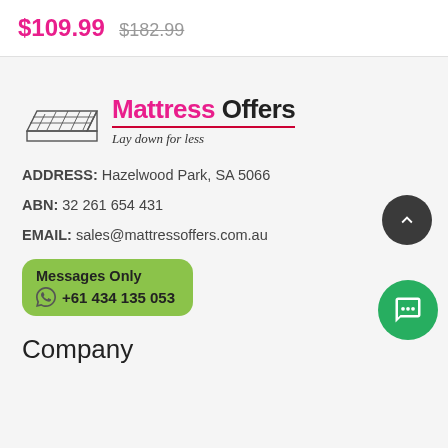$109.99  $182.99
[Figure (logo): Mattress Offers logo with mattress icon and tagline 'Lay down for less']
ADDRESS: Hazelwood Park, SA 5066
ABN: 32 261 654 431
EMAIL: sales@mattressoffers.com.au
Messages Only +61 434 135 053
Company